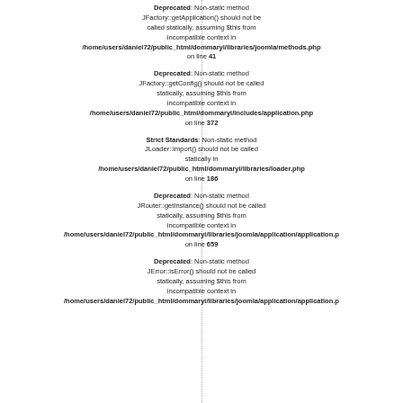Deprecated: Non-static method JFactory::getApplication() should not be called statically, assuming $this from incompatible context in /home/users/daniel72/public_html/dommaryi/libraries/joomla/methods.php on line 41
Deprecated: Non-static method JFactory::getConfig() should not be called statically, assuming $this from incompatible context in /home/users/daniel72/public_html/dommaryi/includes/application.php on line 372
Strict Standards: Non-static method JLoader::import() should not be called statically in /home/users/daniel72/public_html/dommaryi/libraries/loader.php on line 186
Deprecated: Non-static method JRouter::getInstance() should not be called statically, assuming $this from incompatible context in /home/users/daniel72/public_html/dommaryi/libraries/joomla/application/application.php on line 659
Deprecated: Non-static method JError::isError() should not be called statically, assuming $this from incompatible context in /home/users/daniel72/public_html/dommaryi/libraries/joomla/application/application.php